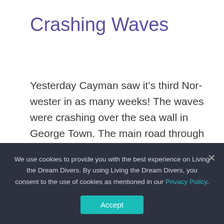Crashing Waves
Yesterday Cayman saw it’s third Nor-wester in as many weeks! The waves were crashing over the sea wall in George Town. The main road through the center was closed for safety. Seven mile beach saw huge waves and there was some ...
We use cookies to provide you with the best experience on Living the Dream Divers. By using Living the Dream Divers, you consent to the use of cookies as mentioned in our Privacy Policy.
Accept